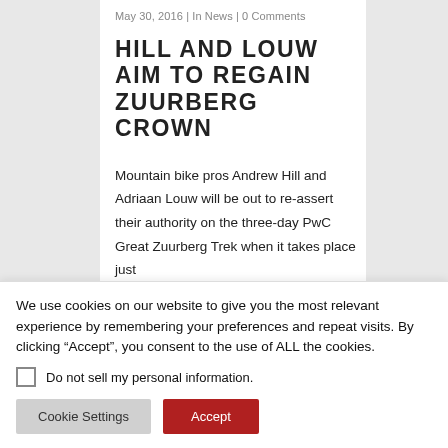May 30, 2016 | In News | 0 Comments
HILL AND LOUW AIM TO REGAIN ZUURBERG CROWN
Mountain bike pros Andrew Hill and Adriaan Louw will be out to re-assert their authority on the three-day PwC Great Zuurberg Trek when it takes place just
We use cookies on our website to give you the most relevant experience by remembering your preferences and repeat visits. By clicking “Accept”, you consent to the use of ALL the cookies.
Do not sell my personal information.